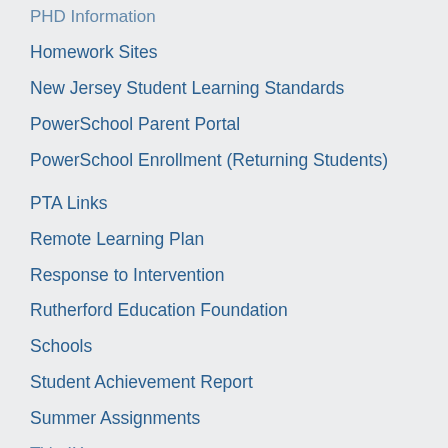PHD Information
Homework Sites
New Jersey Student Learning Standards
PowerSchool Parent Portal
PowerSchool Enrollment (Returning Students)
PTA Links
Remote Learning Plan
Response to Intervention
Rutherford Education Foundation
Schools
Student Achievement Report
Summer Assignments
Title IX